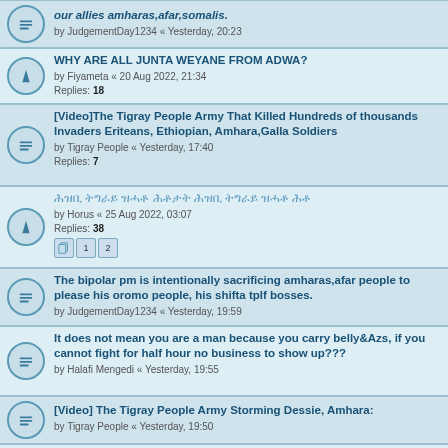our allies amharas,afar,somalis. by JudgementDay1234 « Yesterday, 20:23
WHY ARE ALL JUNTA WEYANE FROM ADWA? by Fiyameta « 20 Aug 2022, 21:34 Replies: 18
[Video]The Tigray People Army That Killed Hundreds of thousands Invaders Eriteans, Ethiopian, Amhara,Galla Soldiers by Tigray People « Yesterday, 17:40 Replies: 7
ሕዝቢ ትግራይ ዝሓቶ ሕቶታት ሕዝቢ ትግራይ ዝሓቶ ሕቶ by Horus « 25 Aug 2022, 03:07 Replies: 38 Pages 1 2
The bipolar pm is intentionally sacrificing amharas,afar people to please his oromo people, his shifta tplf bosses. by JudgementDay1234 « Yesterday, 19:59
It does not mean you are a man because you carry belly&Azs, if you cannot fight for half hour no business to show up??? by Halafi Mengedi « Yesterday, 19:55
[Video] The Tigray People Army Storming Dessie, Amhara: by Tigray People « Yesterday, 19:50
Unpopular Wars Lead to The Collapse of Warring Regimes by Horus « Yesterday, 14:00 Replies: 7
The so called TDF fighters, do they know they are in ጦር? by info « Yesterday, 16:49 Replies: 2